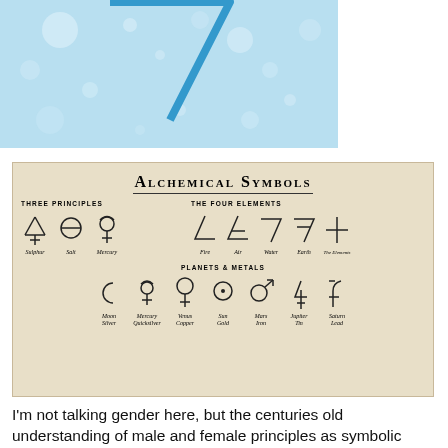[Figure (illustration): Light blue background with white bubbles/circles scattered and a downward-pointing blue triangle (chevron shape) — symbolic alchemical water element illustration]
[Figure (infographic): Alchemical Symbols chart on aged parchment background. Shows Three Principles (Sulphur, Salt, Mercury), The Four Elements (Fire, Air, Water, Earth, The Elements), and Planets & Metals (Moon/Silver, Mercury/Quicksilver, Venus/Copper, Sun/Gold, Mars/Iron, Jupiter/Tin, Saturn/Lead) with their corresponding alchemical symbols.]
I'm not talking gender here, but the centuries old understanding of male and female principles as symbolic